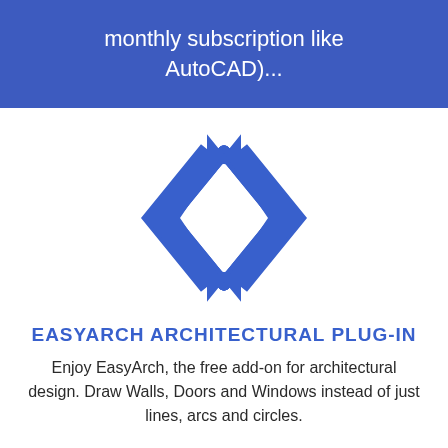monthly subscription like AutoCAD)...
[Figure (logo): EasyArch logo consisting of two overlapping diamond/arrow shapes in blue outline style]
EASYARCH ARCHITECTURAL PLUG-IN
Enjoy EasyArch, the free add-on for architectural design. Draw Walls, Doors and Windows instead of just lines, arcs and circles.